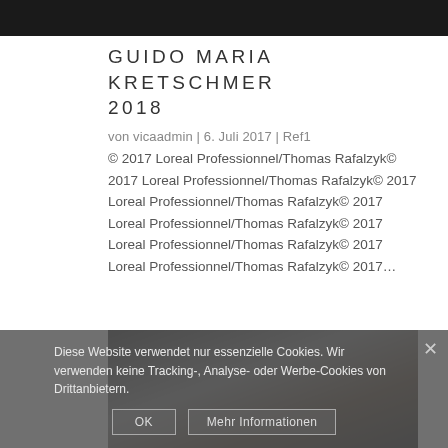[Figure (photo): Dark top photograph, cropped, appears to be a fashion or hair-related image]
GUIDO MARIA KRETSCHMER 2018
von vicaadmin | 6. Juli 2017 | Ref1
© 2017 Loreal Professionnel/Thomas Rafalzyk© 2017 Loreal Professionnel/Thomas Rafalzyk© 2017 Loreal Professionnel/Thomas Rafalzyk© 2017 Loreal Professionnel/Thomas Rafalzyk© 2017 Loreal Professionnel/Thomas Rafalzyk© 2017 Loreal Professionnel/Thomas Rafalzyk© 2017...
[Figure (photo): Close-up photograph of a person's hair being styled, dark background]
Diese Website verwendet nur essenzielle Cookies. Wir verwenden keine Tracking-, Analyse- oder Werbe-Cookies von Drittanbietern.